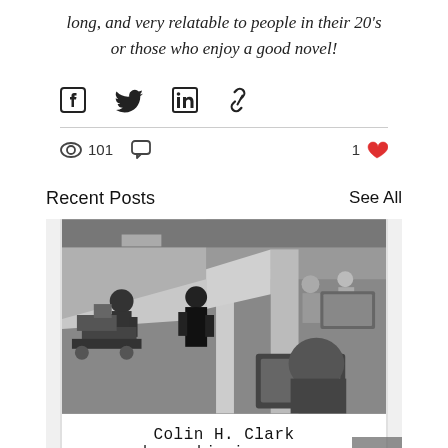long, and very relatable to people in their 20's or those who enjoy a good novel!
[Figure (infographic): Social share buttons: Facebook, Twitter, LinkedIn, link/copy]
101 views, 0 comments, 1 like
Recent Posts
See All
[Figure (photo): Black and white photo of a film production set with camera crew and equipment in a large indoor space]
Colin H. Clark shares his journo...